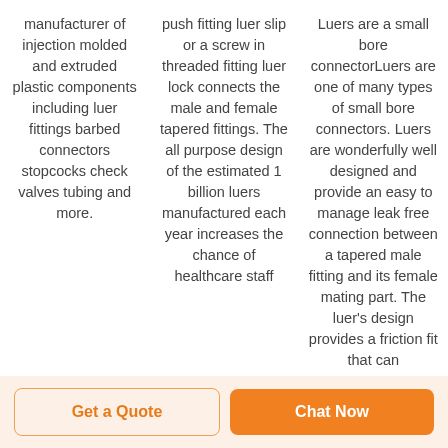manufacturer of injection molded and extruded plastic components including luer fittings barbed connectors stopcocks check valves tubing and more.
push fitting luer slip or a screw in threaded fitting luer lock connects the male and female tapered fittings. The all purpose design of the estimated 1 billion luers manufactured each year increases the chance of healthcare staff
Luers are a small bore connectorLuers are one of many types of small bore connectors. Luers are wonderfully well designed and provide an easy to manage leak free connection between a tapered male fitting and its female mating part. The luer's design provides a friction fit that can
Get a Quote
Chat Now